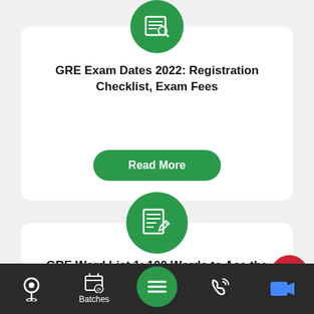[Figure (screenshot): Green circle icon with exam/checklist symbol for GRE Exam Dates card]
GRE Exam Dates 2022: Registration Checklist, Exam Fees
[Figure (screenshot): Read More green rounded button]
[Figure (screenshot): Green circle icon with writing/list symbol for GRE Word List card]
GRE Word List 1: 100 Words to Ace the GRE Vocabulary in 2021
[Figure (screenshot): Bottom navigation bar with location, Batches, menu, phone, and video icons]